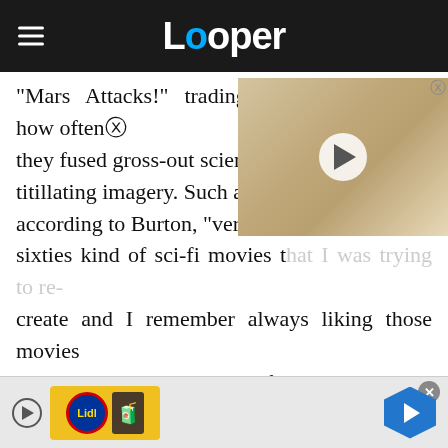Looper
"Mars Attacks!" trading cards, particularly how often they fused gross-out science titillating imagery. Such a st according to Burton, "very m sixties kind of sci-fi movies that I was trying to re-create and I remember always liking those movies where there was some sort of weird alien girl." Paying tribute to seminal works of oddball entertainment has worked like gangbusters for Burton over the course of his career — "Mars
[Figure (screenshot): Video thumbnail overlay showing a blonde woman's face with a white play button circle in the center]
[Figure (infographic): Advertisement bar at bottom with Lidl logo on yellow background, play button, navigation arrow button]